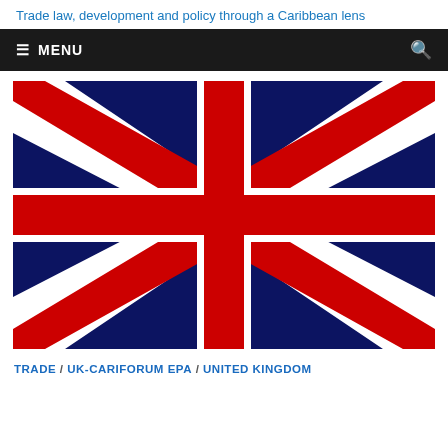Trade law, development and policy through a Caribbean lens
[Figure (illustration): UK Union Jack flag illustration]
TRADE / UK-CARIFORUM EPA / UNITED KINGDOM